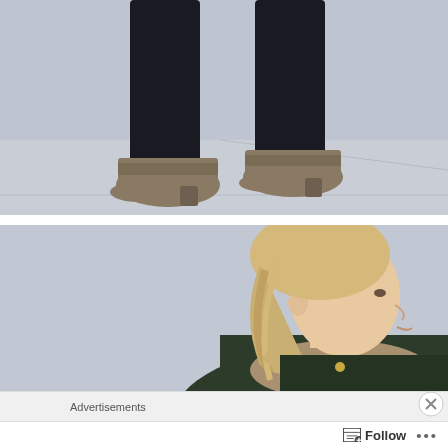[Figure (photo): Close-up photo of a person wearing black skinny pants and tan/taupe suede ankle boots, standing on a light grey concrete surface against a light grey wall.]
[Figure (photo): Profile shot of a blonde woman with a short bob hairstyle, wearing a dark jacket with fur trim, against a light grey wall.]
Advertisements
AUT@MATTIC
Follow